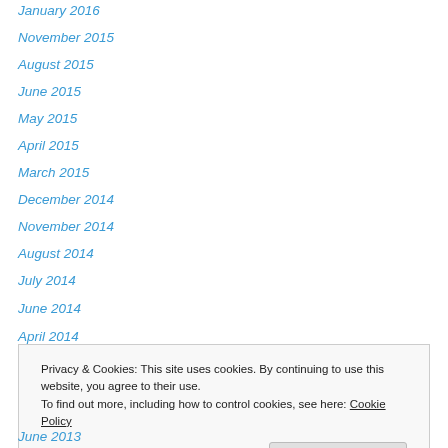January 2016
November 2015
August 2015
June 2015
May 2015
April 2015
March 2015
December 2014
November 2014
August 2014
July 2014
June 2014
April 2014
Privacy & Cookies: This site uses cookies. By continuing to use this website, you agree to their use. To find out more, including how to control cookies, see here: Cookie Policy
June 2013